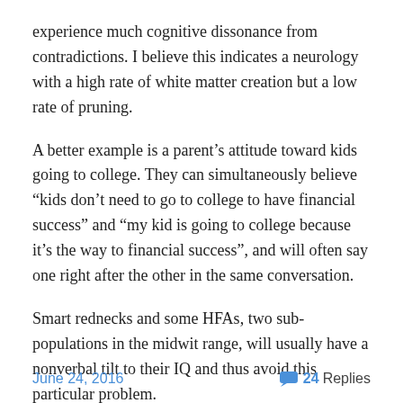experience much cognitive dissonance from contradictions. I believe this indicates a neurology with a high rate of white matter creation but a low rate of pruning.
A better example is a parent’s attitude toward kids going to college. They can simultaneously believe “kids don’t need to go to college to have financial success” and “my kid is going to college because it’s the way to financial success”, and will often say one right after the other in the same conversation.
Smart rednecks and some HFAs, two sub-populations in the midwit range, will usually have a nonverbal tilt to their IQ and thus avoid this particular problem.
June 24, 2016    💬 24 Replies